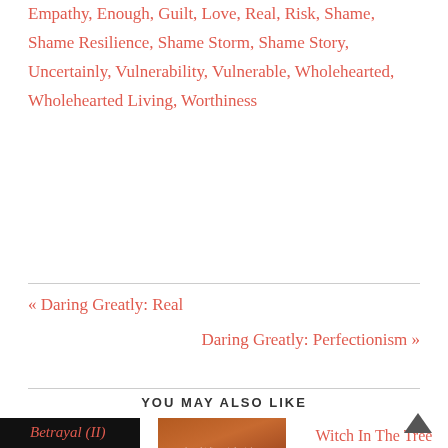Empathy, Enough, Guilt, Love, Real, Risk, Shame, Shame Resilience, Shame Storm, Shame Story, Uncertainly, Vulnerability, Vulnerable, Wholehearted, Wholehearted Living, Worthiness
« Daring Greatly: Real
Daring Greatly: Perfectionism »
YOU MAY ALSO LIKE
[Figure (photo): Dark/black image block for Betrayal (II) post thumbnail]
Betrayal (II)
[Figure (photo): Book cover with orange/brown desert background and text quote, Daring Greatly related]
Age of
Witch In The Tree